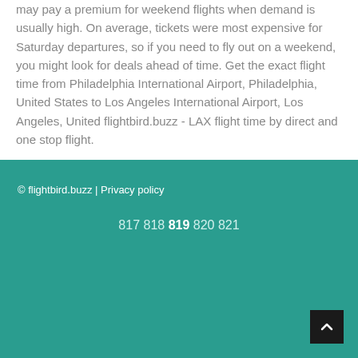may pay a premium for weekend flights when demand is usually high. On average, tickets were most expensive for Saturday departures, so if you need to fly out on a weekend, you might look for deals ahead of time. Get the exact flight time from Philadelphia International Airport, Philadelphia, United States to Los Angeles International Airport, Los Angeles, United flightbird.buzz - LAX flight time by direct and one stop flight.
Distance between PHL & LAX is kilometers.
© flightbird.buzz | Privacy policy
817 818 819 820 821